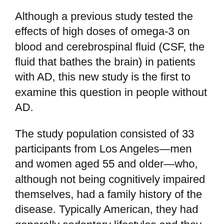Although a previous study tested the effects of high doses of omega-3 on blood and cerebrospinal fluid (CSF, the fluid that bathes the brain) in patients with AD, this new study is the first to examine this question in people without AD.
The study population consisted of 33 participants from Los Angeles—men and women aged 55 and older—who, although not being cognitively impaired themselves, had a family history of the disease. Typically American, they had generally sedentary lifestyles and they ate little to no fatty fish. None had taken omega-3 fatty acid capsules for at least three months prior to the study.